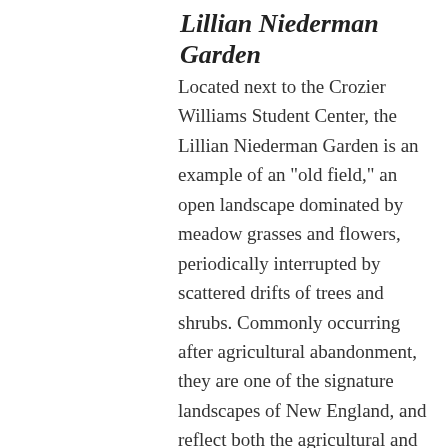Lillian Niederman Garden
Located next to the Crozier Williams Student Center, the Lillian Niederman Garden is an example of an "old field," an open landscape dominated by meadow grasses and flowers, periodically interrupted by scattered drifts of trees and shrubs. Commonly occurring after agricultural abandonment, they are one of the signature landscapes of New England, and reflect both the agricultural and ecological heritage of the region. Today old field